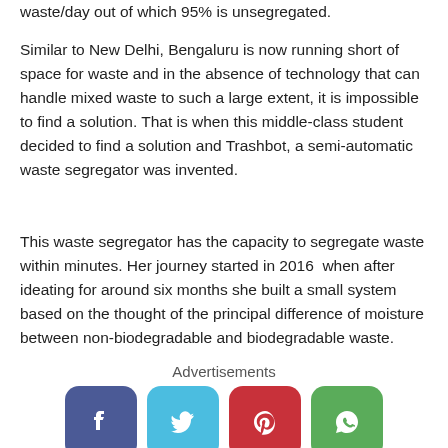waste/day out of which 95% is unsegregated.
Similar to New Delhi, Bengaluru is now running short of space for waste and in the absence of technology that can handle mixed waste to such a large extent, it is impossible to find a solution. That is when this middle-class student decided to find a solution and Trashbot, a semi-automatic waste segregator was invented.
This waste segregator has the capacity to segregate waste within minutes. Her journey started in 2016  when after ideating for around six months she built a small system based on the thought of the principal difference of moisture between non-biodegradable and biodegradable waste.
Advertisements
[Figure (other): Social media share buttons: Facebook (blue), Twitter (light blue), Pinterest (red), WhatsApp (green)]